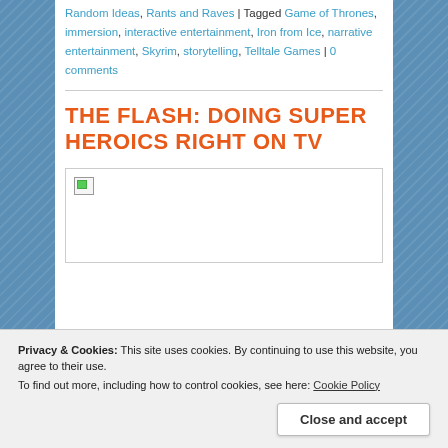Random Ideas, Rants and Raves | Tagged Game of Thrones, immersion, interactive entertainment, Iron from Ice, narrative entertainment, Skyrim, storytelling, Telltale Games | 0 comments
THE FLASH: DOING SUPER HEROICS RIGHT ON TV
[Figure (photo): Broken image placeholder box with small broken image icon in top-left corner]
Privacy & Cookies: This site uses cookies. By continuing to use this website, you agree to their use. To find out more, including how to control cookies, see here: Cookie Policy
Close and accept